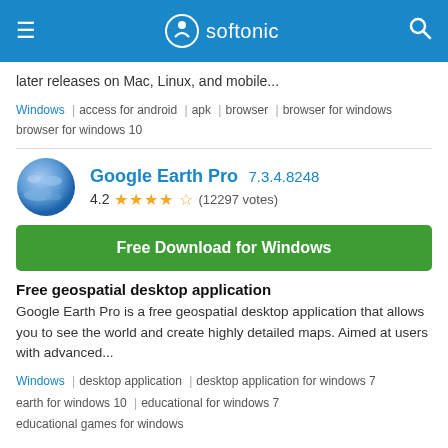softonic
later releases on Mac, Linux, and mobile...
Windows | access for android | apk | browser | browser for windows browser for windows 10
Google Earth Pro 7.3.4.8248
4.2 ★★★★☆ (12297 votes)
Free Download for Windows
Free geospatial desktop application
Google Earth Pro is a free geospatial desktop application that allows you to see the world and create highly detailed maps. Aimed at users with advanced...
Windows | desktop application | desktop application for windows 7 earth for windows 10 | educational for windows 7 educational games for windows